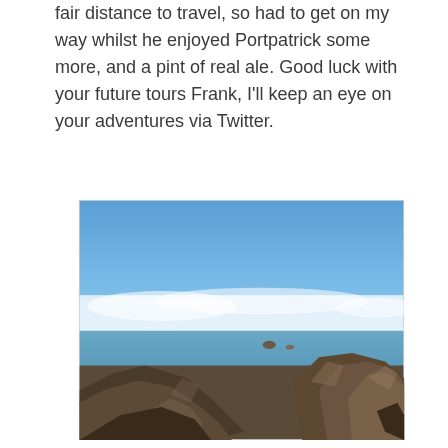fair distance to travel, so had to get on my way whilst he enjoyed Portpatrick some more, and a pint of real ale. Good luck with your future tours Frank, I'll keep an eye on your adventures via Twitter.
[Figure (photo): Coastal landscape photograph showing rocky outcrops in the foreground with calm blue sea in the middle ground and a blue sky with a band of white cloud on the horizon.]